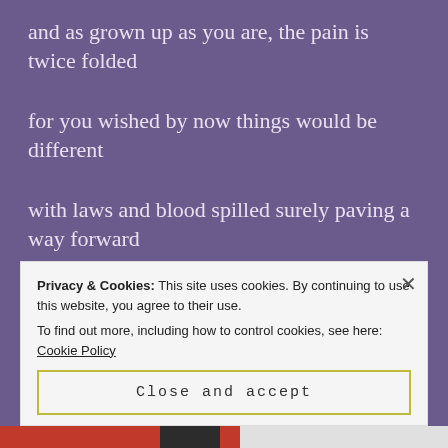and as grown up as you are, the pain is twice folded
for you wished by now things would be different
with laws and blood spilled surely paving a way forward
you forgot, for every step, there is one backwards
still just as you resolved to go without
you found me and still I found you
Privacy & Cookies: This site uses cookies. By continuing to use this website, you agree to their use.
To find out more, including how to control cookies, see here: Cookie Policy
Close and accept